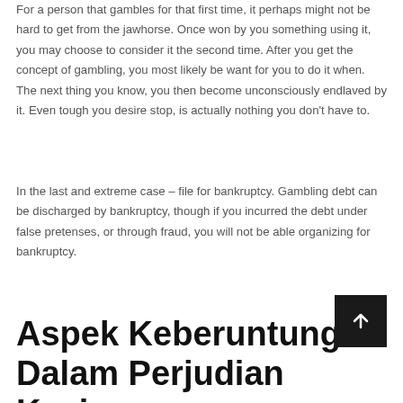For a person that gambles for that first time, it perhaps might not be hard to get from the jawhorse. Once won by you something using it, you may choose to consider it the second time. After you get the concept of gambling, you most likely be want for you to do it when. The next thing you know, you then become unconsciously endlaved by it. Even tough you desire stop, is actually nothing you don't have to.
In the last and extreme case – file for bankruptcy. Gambling debt can be discharged by bankruptcy, though if you incurred the debt under false pretenses, or through fraud, you will not be able organizing for bankruptcy.
Aspek Keberuntungan Dalam Perjudian Kasino